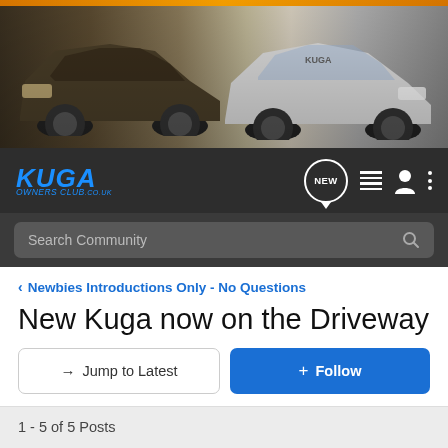[Figure (photo): Banner showing two Ford Kuga SUVs — a dark gold/brown one on the left and a white one on the right, on a dramatic background.]
Kuga Owners Club .co.uk — navigation bar with NEW, list, person, and menu icons, and Search Community search bar
< Newbies Introductions Only - No Questions
New Kuga now on the Driveway
→ Jump to Latest   + Follow
1 - 5 of 5 Posts
Nubby · Registered 🇬🇧
Joined Feb 1, 2009 · 23 Posts